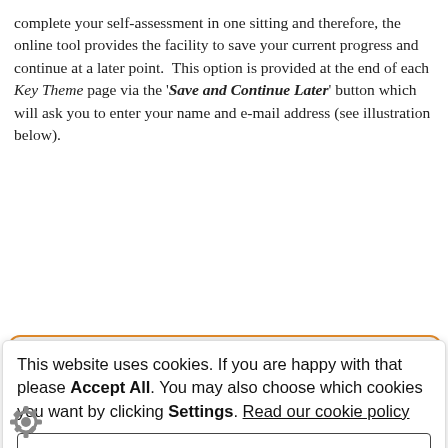complete your self-assessment in one sitting and therefore, the online tool provides the facility to save your current progress and continue at a later point. This option is provided at the end of each Key Theme page via the 'Save and Continue Later' button which will ask you to enter your name and e-mail address (see illustration below).
[Figure (screenshot): Screenshot of a web interface showing a 'Save and Continue Later' dialog overlaid by a cookie consent banner with 'Settings' and 'Accept all' buttons. The cookie banner reads: 'This website uses cookies. If you are happy with that please Accept All. You may also choose which cookies you want by clicking Settings. Read our cookie policy'. Behind it is faded form UI. Below is green-highlighted faded text about an automated e-mail titled 'CSAP Section 11 Self-Assessment Progression' being generated and sent, with a gear icon in the bottom left.]